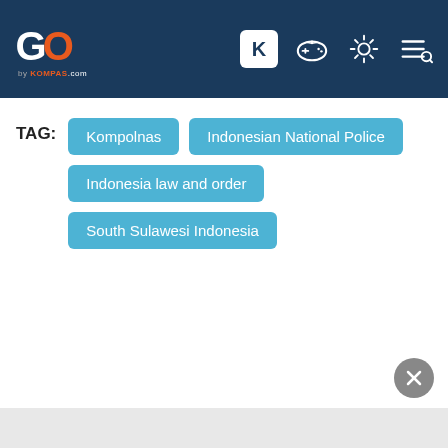[Figure (logo): GO by Kompas.com logo in header navigation bar with icons]
TAG: Kompolnas
Indonesian National Police
Indonesia law and order
South Sulawesi Indonesia